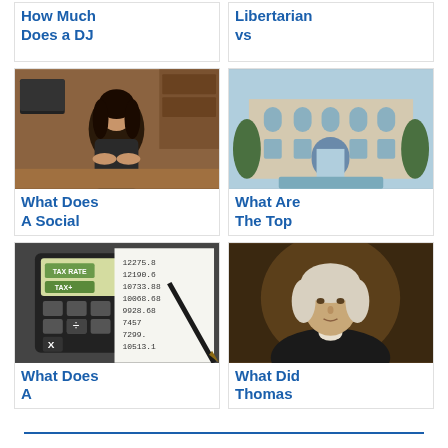How Much Does a DJ
Libertarian vs
[Figure (photo): Woman sitting at desk in office]
[Figure (photo): Large academic or institutional building with arches and pool]
What Does A Social
What Are The Top
[Figure (photo): Calculator showing tax rate numbers]
[Figure (photo): Portrait painting of Thomas Jefferson]
What Does A
What Did Thomas